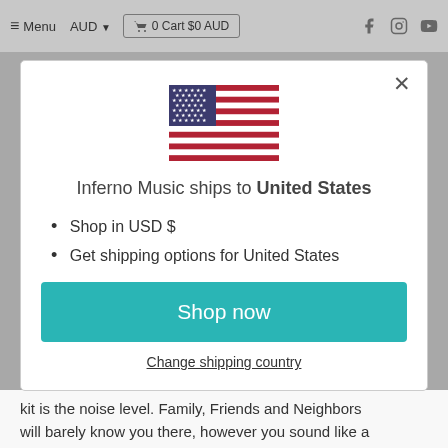≡ Menu   AUD ▼   🛒 0 Cart $0 AUD   f   Instagram   YouTube
[Figure (illustration): US flag SVG illustration centered in modal dialog]
Inferno Music ships to United States
Shop in USD $
Get shipping options for United States
Shop now
Change shipping country
kit is the noise level. Family, Friends and Neighbors will barely know you there, however you sound like a